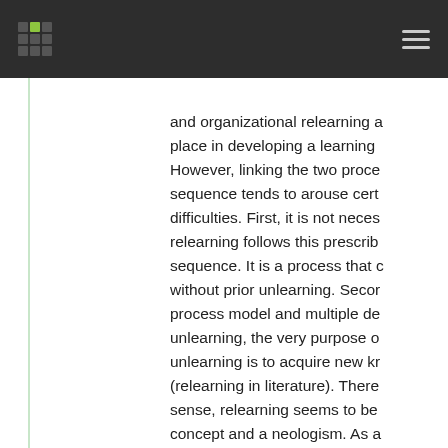Navigation header with logo and menu
and organizational relearning a place in developing a learning However, linking the two proce sequence tends to arouse cert difficulties. First, it is not neces relearning follows this prescrib sequence. It is a process that c without prior unlearning. Secor process model and multiple de unlearning, the very purpose o unlearning is to acquire new kr (relearning in literature). There sense, relearning seems to be concept and a neologism. As a hampers the proper contextual relearning. Originality/value: Th to expound upon the debate of relearning and its interplay with unlearning. As the concept of li and building learning organizat